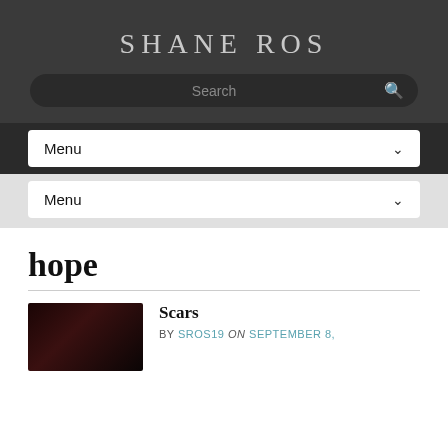SHANE ROS
Search
Menu
Menu
hope
Scars
BY SROS19 on SEPTEMBER 8,